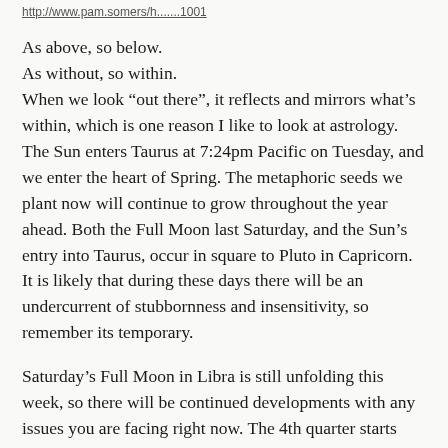http://www.pam.somers/h...1001
As above, so below.
As without, so within.
When we look “out there”, it reflects and mirrors what’s within, which is one reason I like to look at astrology. The Sun enters Taurus at 7:24pm Pacific on Tuesday, and we enter the heart of Spring. The metaphoric seeds we plant now will continue to grow throughout the year ahead. Both the Full Moon last Saturday, and the Sun’s entry into Taurus, occur in square to Pluto in Capricorn. It is likely that during these days there will be an undercurrent of stubbornness and insensitivity, so remember its temporary.
Saturday’s Full Moon in Libra is still unfolding this week, so there will be continued developments with any issues you are facing right now. The 4th quarter starts next Saturday. This is Taurus season, so take some time to reflect on how you’d like the upcoming Moon cycle to go. If you need a personal reading, s…